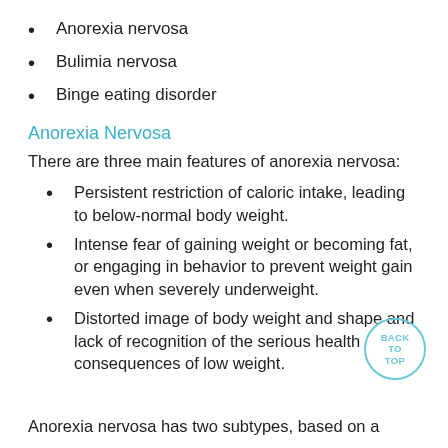Anorexia nervosa
Bulimia nervosa
Binge eating disorder
Anorexia Nervosa
There are three main features of anorexia nervosa:
Persistent restriction of caloric intake, leading to below-normal body weight.
Intense fear of gaining weight or becoming fat, or engaging in behavior to prevent weight gain even when severely underweight.
Distorted image of body weight and shape and lack of recognition of the serious health consequences of low weight.
Anorexia nervosa has two subtypes, based on a